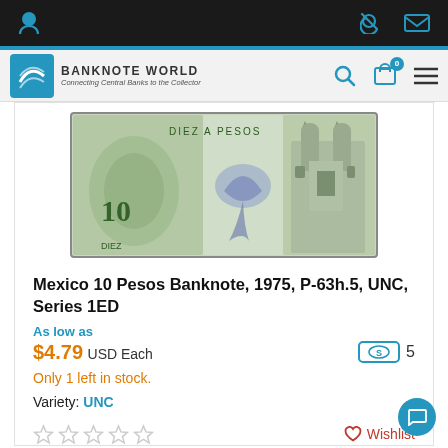Banknote World – Connecting Central Banks to the Collector
[Figure (photo): Mexico 10 Pesos banknote reverse side showing the number 10, a bird (quetzal), and a cathedral building, greenish color scheme]
Mexico 10 Pesos Banknote, 1975, P-63h.5, UNC, Series 1ED
As low as
$4.79 USD Each
Only 1 left in stock.
Variety: UNC
Wishlist